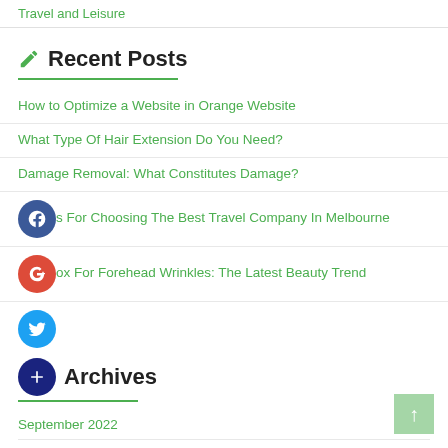Travel and Leisure
✏ Recent Posts
How to Optimize a Website in Orange Website
What Type Of Hair Extension Do You Need?
Damage Removal: What Constitutes Damage?
s For Choosing The Best Travel Company In Melbourne
ox For Forehead Wrinkles: The Latest Beauty Trend
Archives
September 2022
August 2022